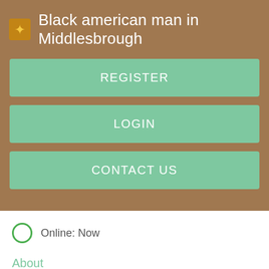Black american man in Middlesbrough
REGISTER
LOGIN
CONTACT US
Online: Now
About
Toggle navigation. View our RSS Feeds.
Ibbie